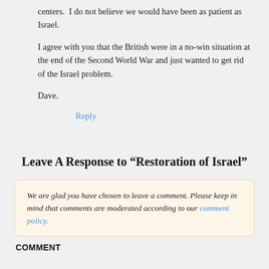centers.  I do not believe we would have been as patient as Israel.
I agree with you that the British were in a no-win situation at the end of the Second World War and just wanted to get rid of the Israel problem.
Dave.
Reply
Leave A Response to "Restoration of Israel"
We are glad you have chosen to leave a comment. Please keep in mind that comments are moderated according to our comment policy.
COMMENT